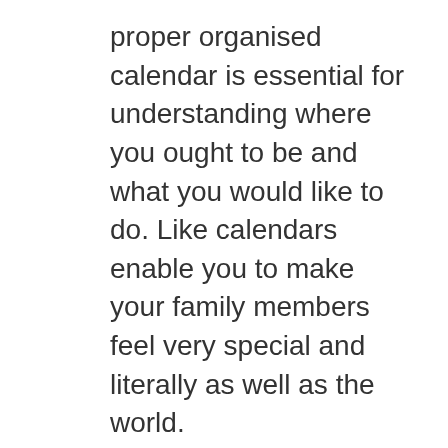proper organised calendar is essential for understanding where you ought to be and what you would like to do. Like calendars enable you to make your family members feel very special and literally as well as the world.
When you have several calendars, select the calendar where you intend to bring the function from Calendar" dropdown menus. It is possible to modify the consequent calendar to satisfy the needs you have. With Yahoo Calendar you could have different calendars each within their very own color for all your various characteristics you will ever have.
Tool and expire makers use CAD to create products and elements. Our working arrangements maker is merely among our